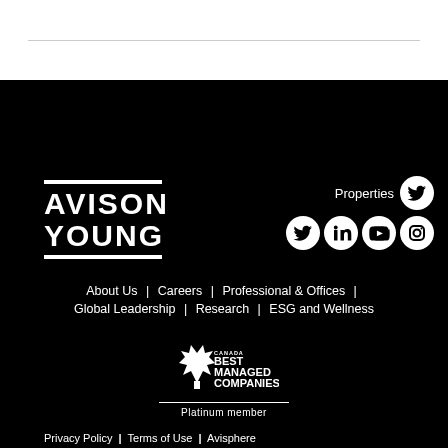[Figure (logo): Avison Young logo - white text with horizontal bars on black background]
[Figure (logo): Social media icons: Twitter (Properties), Twitter, LinkedIn, YouTube, Instagram]
About Us | Careers | Professional & Offices | Global Leadership | Research | ESG and Wellness
[Figure (logo): Canada's Best Managed Companies logo with maple leaf, Platinum member]
Privacy Policy | Terms of Use | Avisphere
© 2022 Avison Young (Canada) Inc. All rights reserved.
Limehouse Advisory LLC is an independently owned and